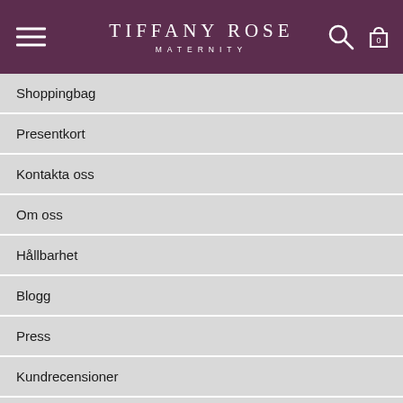TIFFANY ROSE MATERNITY
Shoppingbag
Presentkort
Kontakta oss
Om oss
Hållbarhet
Blogg
Press
Kundrecensioner
Återförsäljare
Webbplatskarta